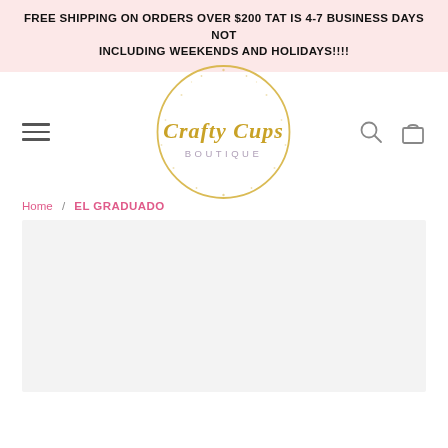FREE SHIPPING ON ORDERS OVER $200 TAT IS 4-7 BUSINESS DAYS NOT INCLUDING WEEKENDS AND HOLIDAYS!!!!
[Figure (logo): Crafty Cups Boutique circular gold glitter logo with cursive script text and hamburger menu, search, and cart icons in navigation bar]
Home / EL GRADUADO
[Figure (photo): Product image area — light grey placeholder rectangle for EL GRADUADO product]